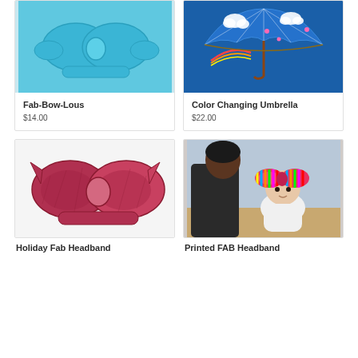[Figure (photo): Light blue fabric bow headband on light blue background]
Fab-Bow-Lous
$14.00
[Figure (photo): Blue color changing umbrella with rainbows, clouds, flowers pattern]
Color Changing Umbrella
$22.00
[Figure (photo): Red and dark pink velvet double bow headband on white background]
[Figure (photo): Baby wearing colorful striped bow headband, held by adult in black]
Holiday Fab Headband
Printed FAB Headband